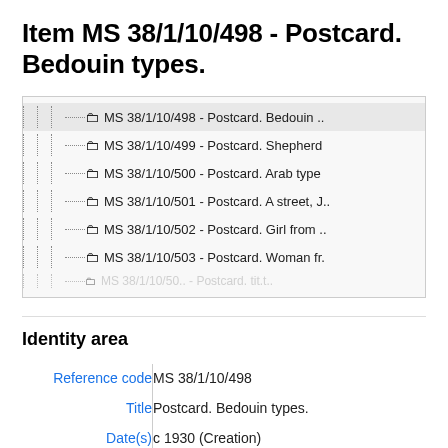Item MS 38/1/10/498 - Postcard. Bedouin types.
[Figure (screenshot): Tree navigation panel showing archive folder items: MS 38/1/10/498 - Postcard. Bedouin .. (selected/highlighted), MS 38/1/10/499 - Postcard. Shepherd, MS 38/1/10/500 - Postcard. Arab type, MS 38/1/10/501 - Postcard. A street, J.., MS 38/1/10/502 - Postcard. Girl from .., MS 38/1/10/503 - Postcard. Woman fr., and a partially visible row below.]
Identity area
| Field | Value |
| --- | --- |
| Reference code | MS 38/1/10/498 |
| Title | Postcard. Bedouin types. |
| Date(s) | c 1930 (Creation) |